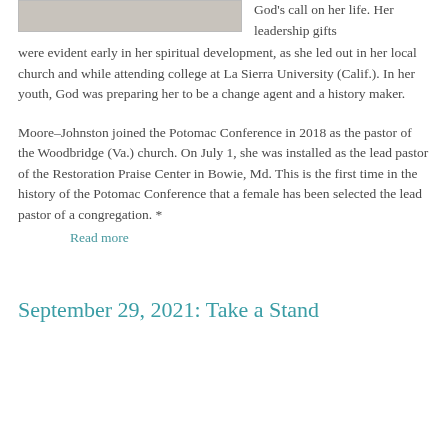[Figure (photo): Partial view of a person's photo at the top left of the page]
God’s call on her life. Her leadership gifts were evident early in her spiritual development, as she led out in her local church and while attending college at La Sierra University (Calif.). In her youth, God was preparing her to be a change agent and a history maker.
Moore–Johnston joined the Potomac Conference in 2018 as the pastor of the Woodbridge (Va.) church. On July 1, she was installed as the lead pastor of the Restoration Praise Center in Bowie, Md. This is the first time in the history of the Potomac Conference that a female has been selected the lead pastor of a congregation. *
Read more
September 29, 2021: Take a Stand